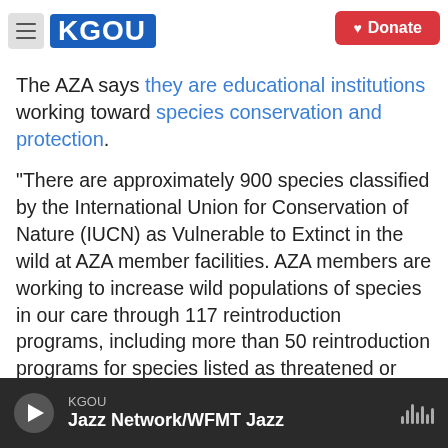KGOU | Donate
The AZA says they are educational institutions working toward species conservation and protection.
“There are approximately 900 species classified by the International Union for Conservation of Nature (IUCN) as Vulnerable to Extinct in the wild at AZA member facilities. AZA members are working to increase wild populations of species in our care through 117 reintroduction programs, including more than 50 reintroduction programs for species listed as threatened or endangered under the Endangered Species Act.”
KGOU | Jazz Network/WFMT Jazz